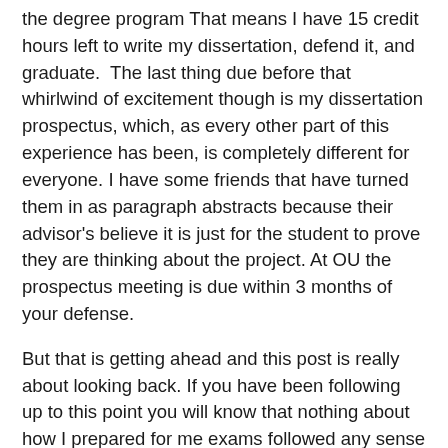the degree program That means I have 15 credit hours left to write my dissertation, defend it, and graduate.  The last thing due before that whirlwind of excitement though is my dissertation prospectus, which, as every other part of this experience has been, is completely different for everyone. I have some friends that have turned them in as paragraph abstracts because their advisor's believe it is just for the student to prove they are thinking about the project. At OU the prospectus meeting is due within 3 months of your defense.
But that is getting ahead and this post is really about looking back. If you have been following up to this point you will know that nothing about how I prepared for me exams followed any sense of traditional work.  I do no possess a single notecard with any information written upon it. This isn't because I burned them all in celebration, it is because I never took any. I have never liked notecards at all, and a stack of loosely connected bullet points wasn't going to get me anywhere. When I think about what learning looks like for me it